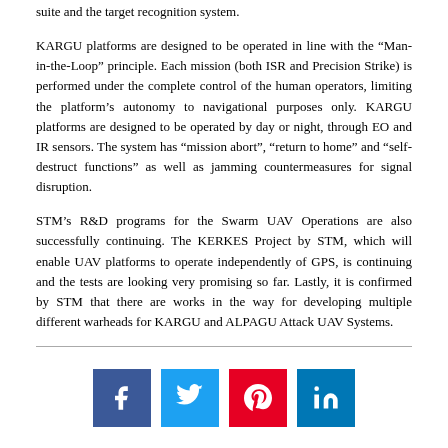suite and the target recognition system.
KARGU platforms are designed to be operated in line with the “Man-in-the-Loop” principle. Each mission (both ISR and Precision Strike) is performed under the complete control of the human operators, limiting the platform’s autonomy to navigational purposes only. KARGU platforms are designed to be operated by day or night, through EO and IR sensors. The system has “mission abort”, “return to home” and “self-destruct functions” as well as jamming countermeasures for signal disruption.
STM’s R&D programs for the Swarm UAV Operations are also successfully continuing. The KERKES Project by STM, which will enable UAV platforms to operate independently of GPS, is continuing and the tests are looking very promising so far. Lastly, it is confirmed by STM that there are works in the way for developing multiple different warheads for KARGU and ALPAGU Attack UAV Systems.
[Figure (other): Social media sharing buttons: Facebook, Twitter, Pinterest, LinkedIn]